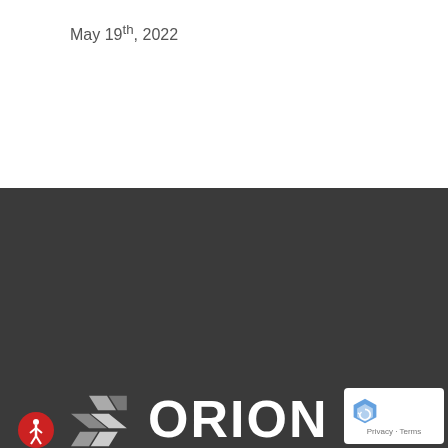May 19th, 2022
[Figure (logo): Orion Capital Solutions logo — accessibility icon (red circle with white figure), geometric diamond/chevron shapes in gray tones, large white 'ORION' text, 'capital solutions' subtitle below]
Orion Capital Solutions is a nationally licensed collection agency based in New York. We have 30+ years of proven experience providing collection and recovery services and delivering exceptional results.